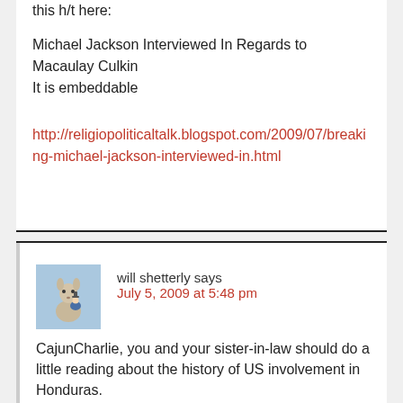this h/t here:
Michael Jackson Interviewed In Regards to Macaulay Culkin
It is embeddable
http://religiopoliticaltalk.blogspot.com/2009/07/breaking-michael-jackson-interviewed-in.html
will shetterly says
July 5, 2009 at 5:48 pm
CajunCharlie, you and your sister-in-law should do a little reading about the history of US involvement in Honduras.